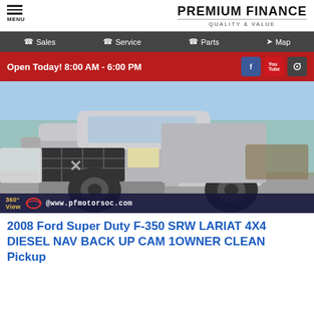MENU | PREMIUM FINANCE QUALITY & VALUE
Sales | Service | Parts | Map
Open Today! 8:00 AM - 6:00 PM
[Figure (photo): Front view of a silver 2008 Ford F-350 Super Duty pickup truck in a dealership lot with palm trees in the background. Watermark bar shows 360° View @www.pfmotorsoc.com]
2008 Ford Super Duty F-350 SRW LARIAT 4X4 DIESEL NAV BACK UP CAM 1OWNER CLEAN Pickup